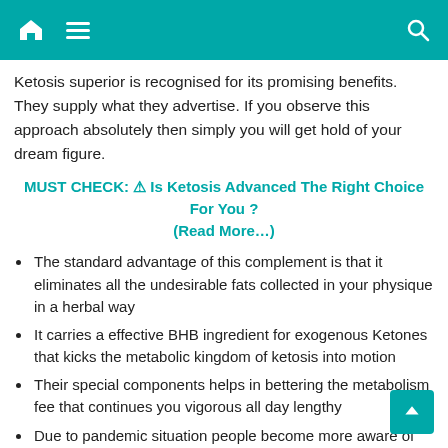Navigation bar with home, menu, and search icons
Ketosis superior is recognised for its promising benefits. They supply what they advertise. If you observe this approach absolutely then simply you will get hold of your dream figure.
MUST CHECK: ⚠ Is Ketosis Advanced The Right Choice For You ? (Read More…)
The standard advantage of this complement is that it eliminates all the undesirable fats collected in your physique in a herbal way
It carries a effective BHB ingredient for exogenous Ketones that kicks the metabolic kingdom of ketosis into motion
Their special components helps in bettering the metabolism fee that continues you vigorous all day lengthy
Due to pandemic situation people become more aware of their immunity and this product improve your immune system which makes it best
It helps you in reaching ketosis shortly so that it burns fats rapidly